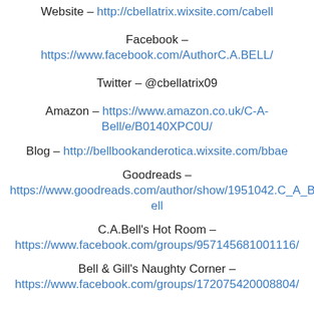Website – http://cbellatrix.wixsite.com/cabell
Facebook – https://www.facebook.com/AuthorC.A.BELL/
Twitter – @cbellatrix09
Amazon – https://www.amazon.co.uk/C-A-Bell/e/B0140XPC0U/
Blog – http://bellbookanderotica.wixsite.com/bbae
Goodreads – https://www.goodreads.com/author/show/1951042.C_A_Bell
C.A.Bell's Hot Room – https://www.facebook.com/groups/957145681001116/
Bell & Gill's Naughty Corner – https://www.facebook.com/groups/172075420008804/